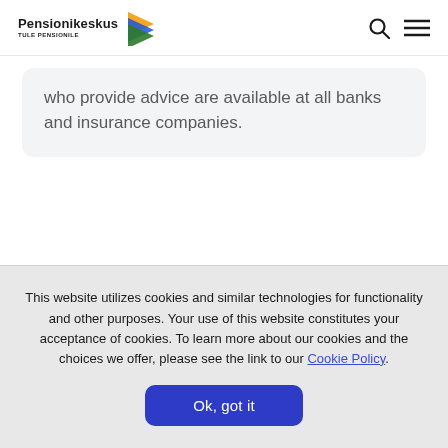Pensionikeskus TULE PENSIONILE
who provide advice are available at all banks and insurance companies.
This website utilizes cookies and similar technologies for functionality and other purposes. Your use of this website constitutes your acceptance of cookies. To learn more about our cookies and the choices we offer, please see the link to our Cookie Policy.